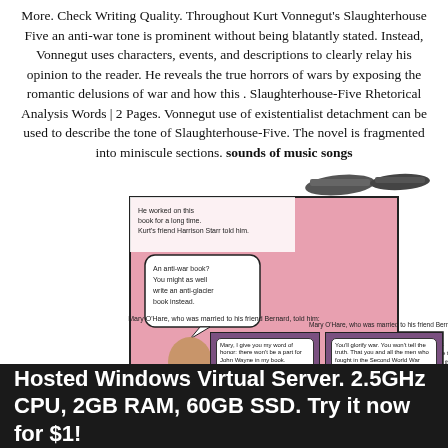More. Check Writing Quality. Throughout Kurt Vonnegut's Slaughterhouse Five an anti-war tone is prominent without being blatantly stated. Instead, Vonnegut uses characters, events, and descriptions to clearly relay his opinion to the reader. He reveals the true horrors of wars by exposing the romantic delusions of war and how this . Slaughterhouse-Five Rhetorical Analysis Words | 2 Pages. Vonnegut use of existentialist detachment can be used to describe the tone of Slaughterhouse-Five. The novel is fragmented into miniscule sections. sounds of music songs
[Figure (illustration): A comic strip depicting scenes from Slaughterhouse-Five. Left panel shows two characters talking with speech bubbles: 'He worked on this book for a long time. Kurt's friend Harrison Starr told him.' and 'An anti-war book? You might as well write an anti-glacier book instead.' Right panels show Mary O'Hare talking with speech bubbles: 'You'll glorify war. You won't tell the truth. That you and all the men who fought in the Second World War were just babies.' and 'Mary, I give you my word of honor: there won't be a part for John Wayne in my book.' and 'I'll tell you what: I'll call it "The Children's Crusade."']
Hosted Windows Virtual Server. 2.5GHz CPU, 2GB RAM, 60GB SSD. Try it now for $1!